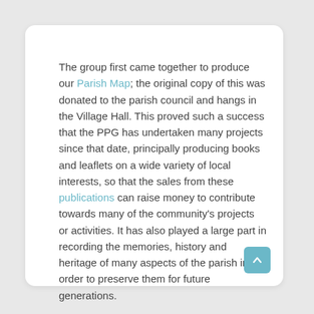The group first came together to produce our Parish Map; the original copy of this was donated to the parish council and hangs in the Village Hall. This proved such a success that the PPG has undertaken many projects since that date, principally producing books and leaflets on a wide variety of local interests, so that the sales from these publications can raise money to contribute towards many of the community's projects or activities. It has also played a large part in recording the memories, history and heritage of many aspects of the parish in order to preserve them for future generations.